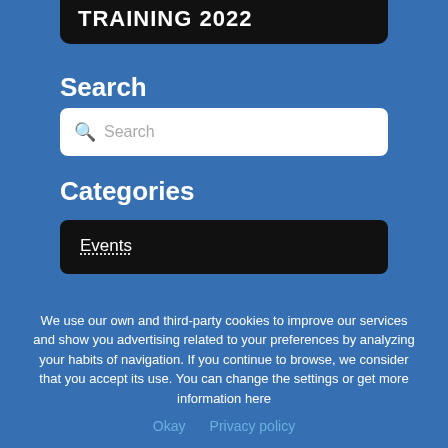TRAINING 2022
Search
Search
Categories
Events
We use our own and third-party cookies to improve our services and show you advertising related to your preferences by analyzing your habits of navigation. If you continue to browse, we consider that you accept its use. You can change the settings or get more information here
Okay   Privacy policy